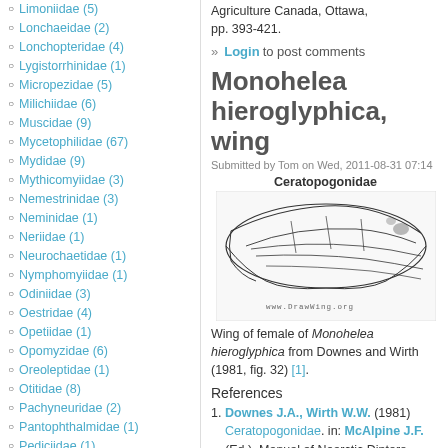Limoniidae (5)
Lonchaeidae (2)
Lonchopteridae (4)
Lygistorrhinidae (1)
Micropezidae (5)
Milichiidae (6)
Muscidae (9)
Mycetophilidae (67)
Mydidae (9)
Mythicomyiidae (3)
Nemestrinidae (3)
Neminidae (1)
Neriidae (1)
Neurochaetidae (1)
Nymphomyiidae (1)
Odiniidae (3)
Oestridae (4)
Opetiidae (1)
Opomyzidae (6)
Oreoleptidae (1)
Otitidae (8)
Pachyneuridae (2)
Pantophthalmidae (1)
Pediciidae (1)
Pelecorhynchidae (2)
Periscelididae (3)
Perissommatidae (1)
Phoridae (23)
Agriculture Canada, Ottawa, pp. 393-421.
» Login to post comments
Monohelea hieroglyphica, wing
Submitted by Tom on Wed, 2011-08-31 07:14
Ceratopogonidae
[Figure (illustration): Wing of female Monohelea hieroglyphica, line drawing from DrawWing.org, showing venation of a dipteran wing]
Wing of female of Monohelea hieroglyphica from Downes and Wirth (1981, fig. 32) [1].
References
Downes J.A., Wirth W.W. (1981) Ceratopogonidae. in: McAlpine J.F. (Ed.), Manual of Nearctic Diptera. Agriculture Canada, Ottawa, pp. 393-421.